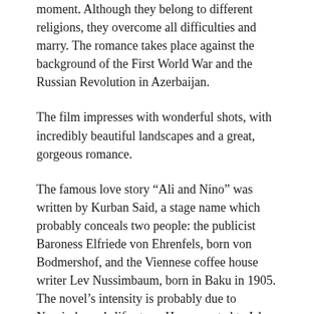moment. Although they belong to different religions, they overcome all difficulties and marry. The romance takes place against the background of the First World War and the Russian Revolution in Azerbaijan.
The film impresses with wonderful shots, with incredibly beautiful landscapes and a great, gorgeous romance.
The famous love story “Ali and Nino” was written by Kurban Said, a stage name which probably conceals two people: the publicist Baroness Elfriede von Ehrenfels, born von Bodmershof, and the Viennese coffee house writer Lev Nussimbaum, born in Baku in 1905. The novel’s intensity is probably due to Nussimbaum’s life story. He converted to Islam as a Jew and is said to have taken the name Essad Bey after his convert.